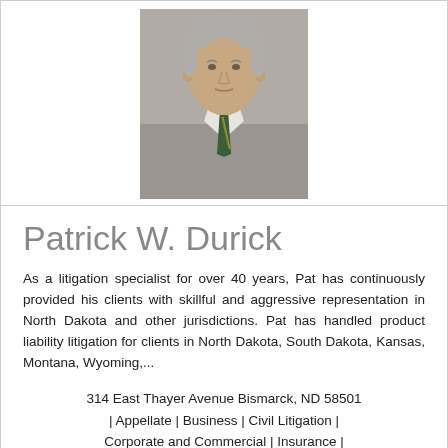[Figure (photo): Professional headshot portrait of Patrick W. Durick, a man in a grey suit with a green and gold striped tie, white shirt, grey hair, neutral expression]
Patrick W. Durick
As a litigation specialist for over 40 years, Pat has continuously provided his clients with skillful and aggressive representation in North Dakota and other jurisdictions. Pat has handled product liability litigation for clients in North Dakota, South Dakota, Kansas, Montana, Wyoming,...
314 East Thayer Avenue Bismarck, ND 58501 | Appellate | Business | Civil Litigation | Corporate and Commercial | Insurance | Personal Injury |